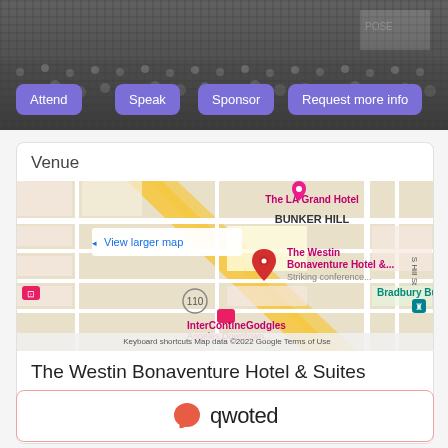[Figure (photo): Crowd/event hero image background in grayscale]
Attend
Speak
Sponsor
Request more info
Venue
[Figure (map): Google Maps showing The Westin Bonaventure Hotel & Suites location in Los Angeles, with markers for The LA Grand Hotel, InterContinental Los Angeles Downtown, Bradbury Building, and highway 110. Text includes: View larger map, BUNKER HILL, The Westin Bonaventure Hotel &... Striking conference..., Bradbury Buildin, InterContinenGodgles, Keyboard shortcuts, Map data ©2022 Google, Terms of Use]
The Westin Bonaventure Hotel & Suites
The Westin Bonaventure Hotel & Suites, 404 S Figueroa St, Los Angeles, CA 90071, USA
[Figure (logo): Qwoted logo: orange speech bubble icon followed by the word 'qwoted' in dark text]